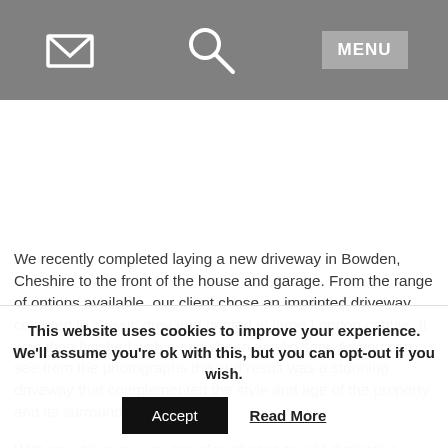[Navigation bar with email icon, search icon, and MENU button]
[Figure (photo): Image placeholder area — driveway photograph]
We recently completed laying a new driveway in Bowden, Cheshire to the front of the house and garage.  From the range of options available, our client chose an imprinted driveway coloured in classic grey and printed in large London cobble. It was then finished with a mid-sheen acrylic seal.  As you can see from the photographs the end result was a stunning driveway that complemented the style and age of the property and its surroundings!
With any driveway you can also choose to add distinctive kerbs, edging or walling to complete the perfect look.  Lasting Impressions
This website uses cookies to improve your experience. We'll assume you're ok with this, but you can opt-out if you wish.
Accept    Read More